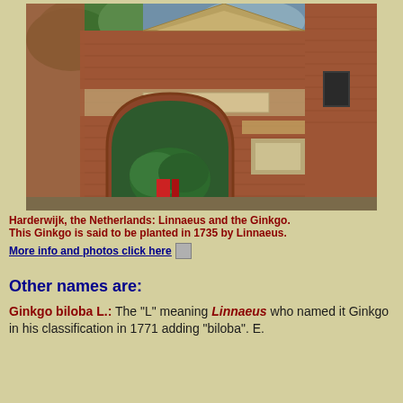[Figure (photo): Brick archway building in Harderwijk, the Netherlands, associated with Linnaeus and a Ginkgo tree planted in 1735.]
Harderwijk, the Netherlands: Linnaeus and the Ginkgo.
This Ginkgo is said to be planted in 1735 by Linnaeus.
More info and photos click here
Other names are:
Ginkgo biloba L.: The "L" meaning Linnaeus who named it Ginkgo in his classification in 1771 adding "biloba". E. Kaempfer first used the "Ginkgo" in 1712.